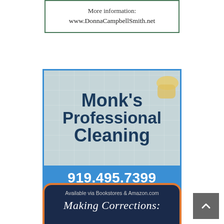[Figure (other): Advertisement box with green border showing 'More information: www.DonnaCampbellSmith.net']
[Figure (other): Monk's Professional Cleaning advertisement with blue border. Photo of gloved hand cleaning tiles. Text: Monk's Professional Cleaning, phone 919.495.7399, Serving Raleigh & surrounding areas]
[Figure (other): Partial advertisement with dark blue background and orange border. Text: Available via Bookstores & Amazon.com, Making Corrections:]